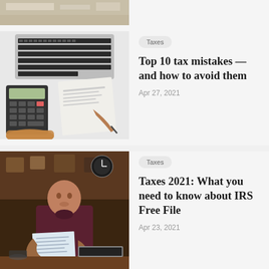[Figure (photo): Partial view of hands with papers/documents, cropped at top]
[Figure (photo): Overhead view of person using calculator and writing on tax forms next to an open laptop]
Taxes
Top 10 tax mistakes — and how to avoid them
Apr 27, 2021
[Figure (photo): Person in dark maroon hoodie sitting at kitchen table reviewing documents, with laptop open]
Taxes
Taxes 2021: What you need to know about IRS Free File
Apr 23, 2021